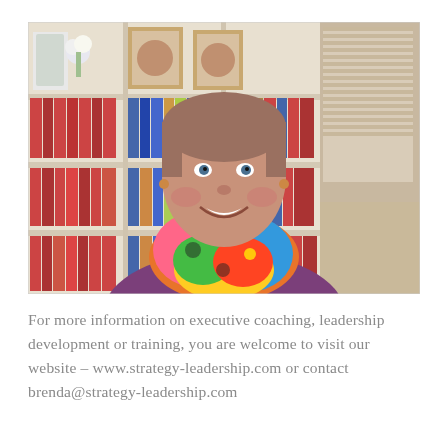[Figure (photo): A smiling middle-aged woman with short grey-brown hair wearing a purple sweater and a colorful patterned scarf, seated in front of a white bookshelf filled with binders and books, with framed artwork on the wall above.]
For more information on executive coaching, leadership development or training, you are welcome to visit our website – www.strategy-leadership.com or contact brenda@strategy-leadership.com